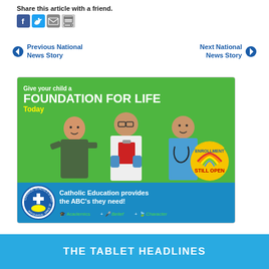Share this article with a friend.
[Figure (screenshot): Social share icons: Facebook, Twitter, Email, Print]
Previous National News Story
Next National News Story
[Figure (illustration): Catholic Schools of Brooklyn and Queens advertisement: Give your child a FOUNDATION FOR LIFE Today. Shows three children dressed as soldier, scientist, and doctor. Logo bottom left, Enrollment Still Open badge bottom right. Catholic Education provides the ABC's they need! Academics + Belief + Character]
THE TABLET HEADLINES